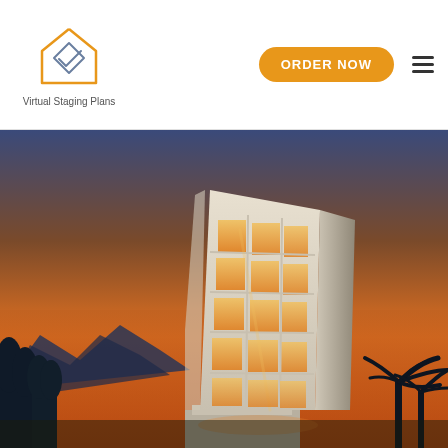Virtual Staging Plans — ORDER NOW navigation header
[Figure (illustration): Modern multi-story glass building with warm orange/amber illuminated windows against a dramatic sunset sky with silhouetted mountains and palm trees]